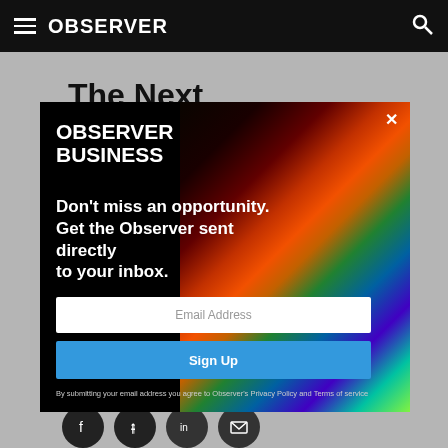OBSERVER
The Next
[Figure (screenshot): Observer Business newsletter signup modal overlay with colorful light-streak background image, email input field, Sign Up button, and disclaimer text]
By Sissi Cao • 04/20/21 9:49am
[Figure (other): Social sharing icons: Facebook, Twitter, LinkedIn, Email]